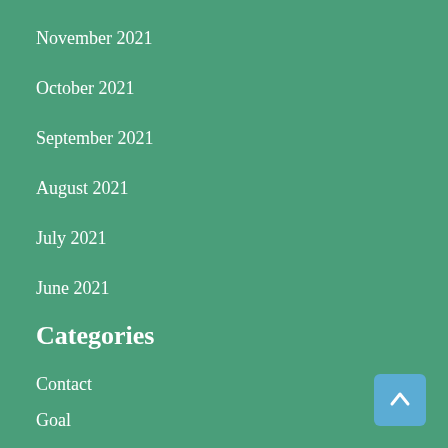November 2021
October 2021
September 2021
August 2021
July 2021
June 2021
Categories
Contact
Goal
Introduction
Lecturer